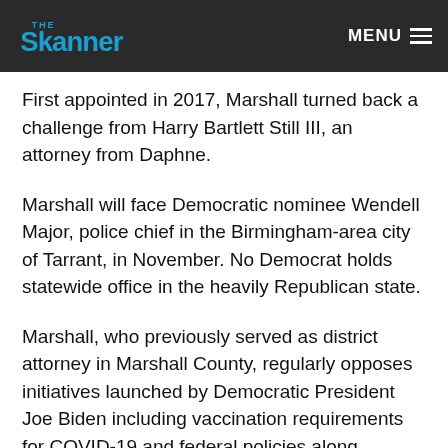The Skanner | MENU
First appointed in 2017, Marshall turned back a challenge from Harry Bartlett Still III, an attorney from Daphne.
Marshall will face Democratic nominee Wendell Major, police chief in the Birmingham-area city of Tarrant, in November. No Democrat holds statewide office in the heavily Republican state.
Marshall, who previously served as district attorney in Marshall County, regularly opposes initiatives launched by Democratic President Joe Biden including vaccination requirements for COVID-19 and federal policies along